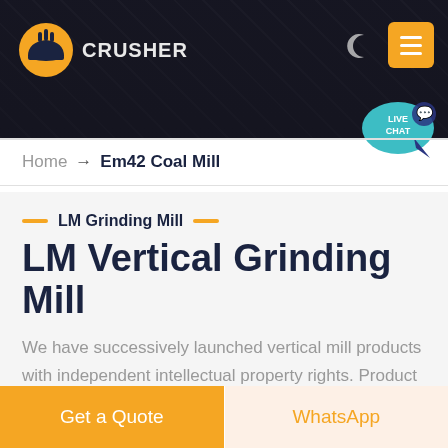[Figure (screenshot): Website header banner with dark background showing mining/crusher imagery, orange logo icon, CRUSHER text, moon icon, and yellow hamburger menu button]
[Figure (illustration): Live chat bubble in teal/blue with LIVE CHAT text and speech bubble icon]
Home → Em42 Coal Mill
LM Grinding Mill
LM Vertical Grinding Mill
We have successively launched vertical mill products with independent intellectual property rights. Product Features: Integration of multiple functions, more stable and reliable production and more excellent capacity
Get a Quote
WhatsApp